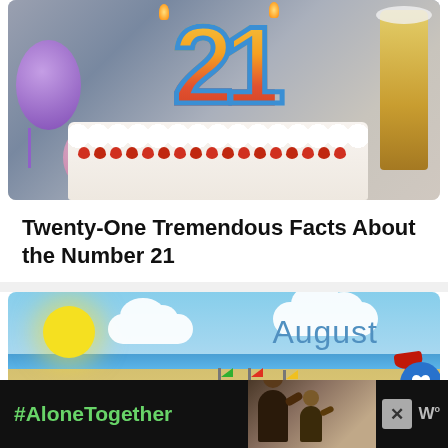[Figure (photo): Birthday cake with number 21 candles, strawberries on top, purple balloon decoration on left, beer glass on right, blurred background]
Twenty-One Tremendous Facts About the Number 21
[Figure (illustration): August beach scene illustration with yellow sun, white clouds, blue ocean, sandcastles with flags, red shovel on sandy beach, with 'August' text in blue]
[Figure (photo): Advertisement banner with #AloneTogether text in green on black background, photo of father and child waving, close button X, and W logo]